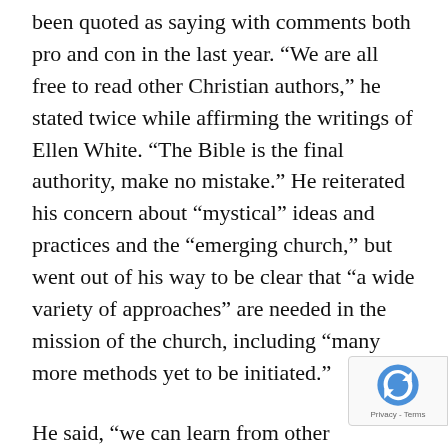been quoted as saying with comments both pro and con in the last year. “We are all free to read other Christian authors,” he stated twice while affirming the writings of Ellen White. “The Bible is the final authority, make no mistake.” He reiterated his concern about “mystical” ideas and practices and the “emerging church,” but went out of his way to be clear that “a wide variety of approaches” are needed in the mission of the church, including “many more methods yet to be initiated.”
He said, “we can learn from other Christians,” and made it clear that his expressed concern about inviting non-Adventist speakers is “not talking about community service events to which civic leaders are invited” or “educational lectures” in which outside speakers share “technical or professional knowledge that we can use.” His concern, he said, is about “m… presentations of spiritual or theological messages.